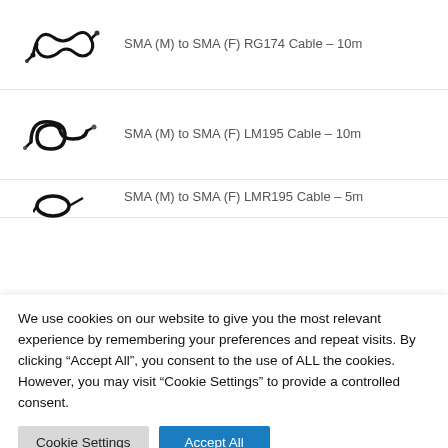SMA (M) to SMA (F) RG174 Cable - 10m
SMA (M) to SMA (F) LM195 Cable - 10m
SMA (M) to SMA (F) LMR195 Cable - 5m
We use cookies on our website to give you the most relevant experience by remembering your preferences and repeat visits. By clicking “Accept All”, you consent to the use of ALL the cookies. However, you may visit “Cookie Settings” to provide a controlled consent.